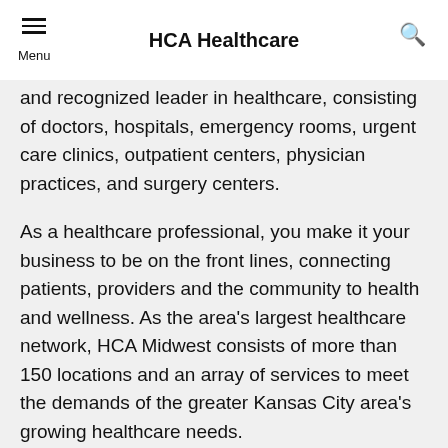HCA Healthcare
and recognized leader in healthcare, consisting of doctors, hospitals, emergency rooms, urgent care clinics, outpatient centers, physician practices, and surgery centers.
As a healthcare professional, you make it your business to be on the front lines, connecting patients, providers and the community to health and wellness. As the area's largest healthcare network, HCA Midwest consists of more than 150 locations and an array of services to meet the demands of the greater Kansas City area's growing healthcare needs.
Our 7 hospitals include: